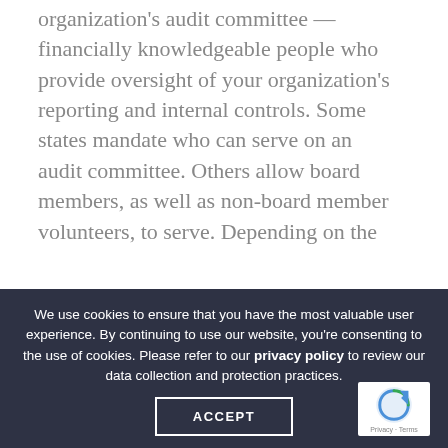organization's audit committee — financially knowledgeable people who provide oversight of your organization's reporting and internal controls. Some states mandate who can serve on an audit committee. Others allow board members, as well as non-board member volunteers, to serve. Depending on the
We use cookies to ensure that you have the most valuable user experience. By continuing to use our website, you're consenting to the use of cookies. Please refer to our privacy policy to review our data collection and protection practices.
ACCEPT